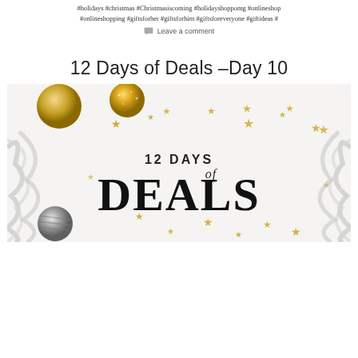#holidays #christmas #Christmasiscoming #holidayshoppomg #onlineshop #onlineshopping #giftsforher #giftsforhim #giftsforeveryone #giftideas #
Leave a comment
12 Days of Deals –Day 10
[Figure (illustration): Holiday promotional banner showing '12 DAYS of DEALS' text with gold and silver Christmas ornaments, star decorations, and silver tinsel branches on a white marble-like background.]